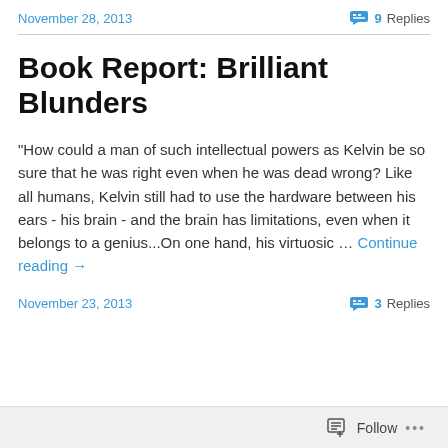November 28, 2013   9 Replies
Book Report: Brilliant Blunders
"How could a man of such intellectual powers as Kelvin be so sure that he was right even when he was dead wrong? Like all humans, Kelvin still had to use the hardware between his ears - his brain - and the brain has limitations, even when it belongs to a genius...On one hand, his virtuosic … Continue reading →
November 23, 2013   3 Replies
Follow ...